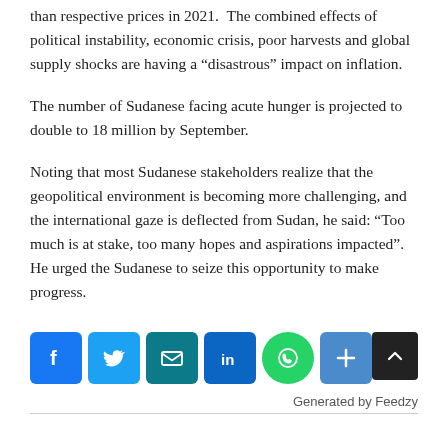than respective prices in 2021.  The combined effects of political instability, economic crisis, poor harvests and global supply shocks are having a “disastrous” impact on inflation.
The number of Sudanese facing acute hunger is projected to double to 18 million by September.
Noting that most Sudanese stakeholders realize that the geopolitical environment is becoming more challenging, and the international gaze is deflected from Sudan, he said: “Too much is at stake, too many hopes and aspirations impacted”.  He urged the Sudanese to seize this opportunity to make progress.
[Figure (infographic): Social sharing buttons: Facebook, Twitter, Email, LinkedIn, WhatsApp, Share (plus sign). A back-to-top button on the right. Below: 'Generated by Feedzy' text and a horizontal divider.]